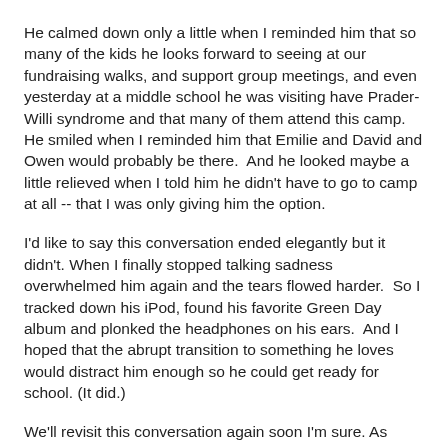He calmed down only a little when I reminded him that so many of the kids he looks forward to seeing at our fundraising walks, and support group meetings, and even yesterday at a middle school he was visiting have Prader-Willi syndrome and that many of them attend this camp. He smiled when I reminded him that Emilie and David and Owen would probably be there.  And he looked maybe a little relieved when I told him he didn't have to go to camp at all -- that I was only giving him the option.
I'd like to say this conversation ended elegantly but it didn't. When I finally stopped talking sadness overwhelmed him again and the tears flowed harder.  So I tracked down his iPod, found his favorite Green Day album and plonked the headphones on his ears.  And I hoped that the abrupt transition to something he loves would distract him enough so he could get ready for school. (It did.)
We'll revisit this conversation again soon I'm sure. As Oscar heads toward adolescence he will undoubtedly notice more differences between himself and his typical peers.  He will have more questions. There will be more tears.